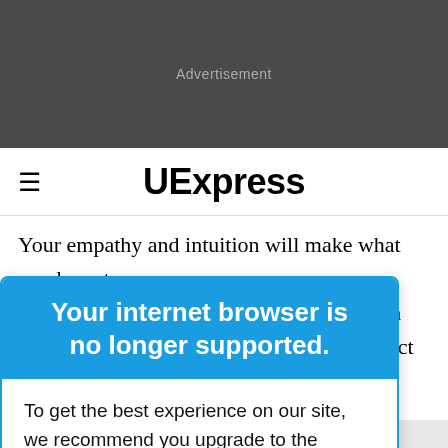[Figure (other): Dark grey advertisement banner area with 'Advertisement' label in grey text]
UExpress
Your empathy and intuition will make what you have to offer appealing. Your sympathy for those in calming effect ou become plish. An er.
Your internet browser is no longer supported.
To get the best experience on our site, we recommend you upgrade to the latest version.